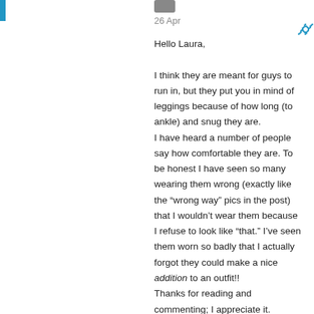26 Apr
Hello Laura,

I think they are meant for guys to run in, but they put you in mind of leggings because of how long (to ankle) and snug they are.
I have heard a number of people say how comfortable they are. To be honest I have seen so many wearing them wrong (exactly like the “wrong way” pics in the post) that I wouldn’t wear them because I refuse to look like “that.” I’ve seen them worn so badly that I actually forgot they could make a nice addition to an outfit!!
Thanks for reading and commenting; I appreciate it.
God bless you